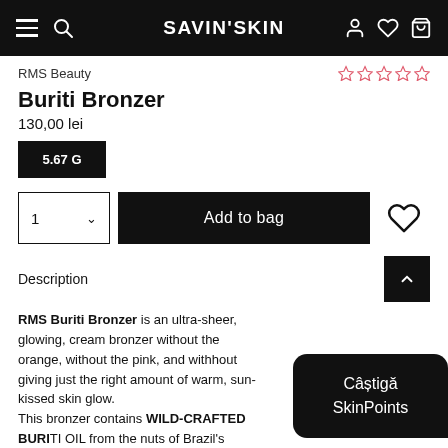SAVIN'SKIN
RMS Beauty
Buriti Bronzer
130,00 lei
5.67 G
1  Add to bag
Description
RMS Buriti Bronzer is an ultra-sheer, glowing, cream bronzer without the orange, without the pink, and without giving just the right amount of warm, sun-kissed sk... This bronzer contains WILD-CRAFTED BURI... from the nuts of Brazil's moriche palm tree, the oil ... N
Câștigă SkinPoints